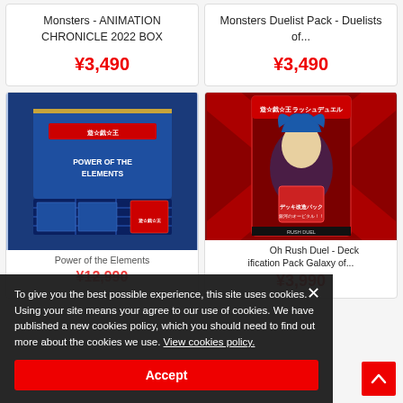Monsters - ANIMATION CHRONICLE 2022 BOX
¥3,490
Monsters Duelist Pack - Duelists of...
¥3,490
[Figure (photo): Yu-Gi-Oh! Power of the Elements booster box product image]
¥12,990
[Figure (photo): Yu-Gi-Oh! Rush Duel Deck Modification Pack Galaxy product image]
Yu-Gi-Oh Rush Duel - Deck ification Pack Galaxy of...
¥3,990
To give you the best possible experience, this site uses cookies. Using your site means your agree to our use of cookies. We have published a new cookies policy, which you should need to find out more about the cookies we use. View cookies policy.
Accept